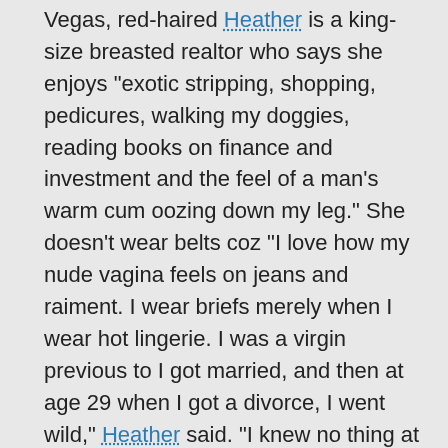Vegas, red-haired Heather is a king-size breasted realtor who says she enjoys "exotic stripping, shopping, pedicures, walking my doggies, reading books on finance and investment and the feel of a man's warm cum oozing down my leg." She doesn't wear belts coz "I love how my nude vagina feels on jeans and raiment. I wear briefs merely when I wear hot lingerie. I was a virgin previous to I got married, and then at age 29 when I got a divorce, I went wild," Heather said. "I knew no thing at that point and had not at any time had a ladies man go down on me until I was 29. Then, in the year or 2 after my divorce, I was with plenty of men and learned a lot about sex and what I like." Heather can't live with out rod. Can't live without shlong. Those pix prove that.
See More of Heather Barron at 40SOMETHINGMAG.COM!